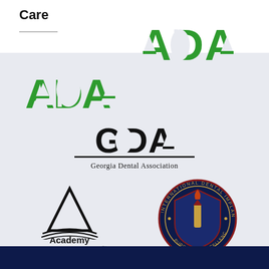Care
[Figure (logo): ADA (American Dental Association) logo in green letters]
[Figure (logo): GDA Georgia Dental Association logo in black letters with horizontal lines]
[Figure (logo): Academy of General Dentistry logo with triangular A mark and curved lines]
[Figure (logo): International Dental Implant Association circular seal/badge logo in navy, red and gold]